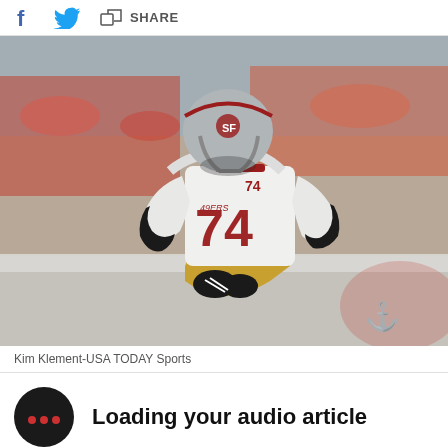f  (twitter bird)  (share icon)  SHARE
[Figure (photo): San Francisco 49ers offensive lineman wearing jersey number 74, in white and gold uniform with red accents, in a crouched ready stance on the field. Crowd visible in background with red and orange colors. Tampa Bay Buccaneers logo visible in lower right corner.]
Kim Klement-USA TODAY Sports
Loading your audio article